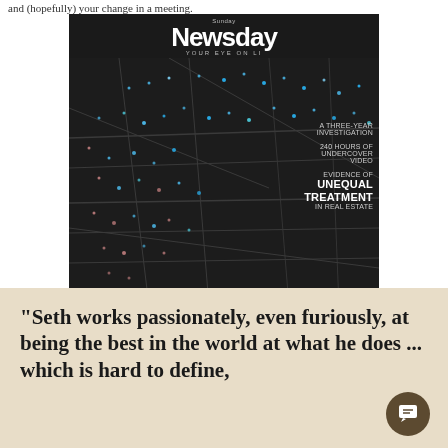and (hopefully) your change in a meeting.
[Figure (photo): Newsday magazine cover showing Long Island Divided investigation. Dark map background with colored dots. Text: A THREE-YEAR INVESTIGATION, 240 HOURS OF UNDERCOVER VIDEO, EVIDENCE OF UNEQUAL TREATMENT IN REAL ESTATE, LONG ISLAND DIVIDED]
"Seth works passionately, even furiously, at being the best in the world at what he does ... which is hard to define,